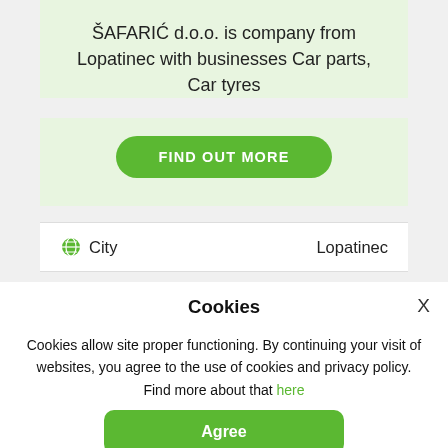ŠAFARIĆ d.o.o. is company from Lopatinec with businesses Car parts, Car tyres
[Figure (other): Green rounded button labeled FIND OUT MORE]
City    Lopatinec
Cookies
Cookies allow site proper functioning. By continuing your visit of websites, you agree to the use of cookies and privacy policy. Find more about that here
[Figure (other): Green rounded button labeled Agree]